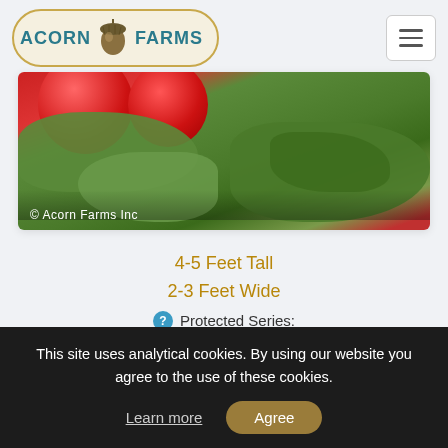[Figure (logo): Acorn Farms logo with acorn icon inside an oval border with teal text]
[Figure (photo): Close-up photo of red apples or rose hips among green serrated leaves with copyright text '© Acorn Farms Inc']
4-5 Feet Tall
2-3 Feet Wide
Protected Series:
Color: red flower
Light: Full Sun
This site uses analytical cookies. By using our website you agree to the use of these cookies.
Learn more
Agree